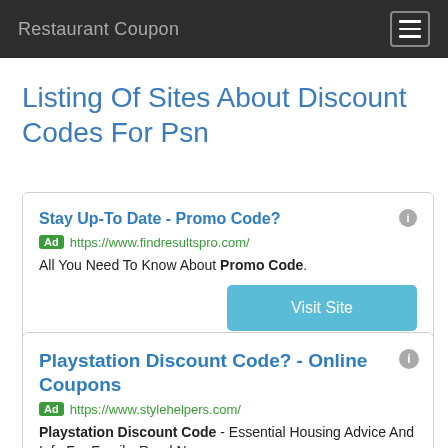Restaurant Coupon
Listing Of Sites About Discount Codes For Psn
Stay Up-To Date - Promo Code? Ad https://www.findresultspro.com/ All You Need To Know About Promo Code. Visit Site
Playstation Discount Code? - Online Coupons Ad https://www.stylehelpers.com/ Playstation Discount Code - Essential Housing Advice And Info For Family. Read Now.